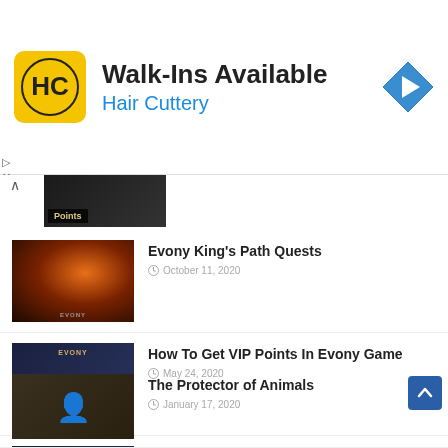[Figure (infographic): Hair Cuttery advertisement banner with logo, 'Walk-Ins Available' headline, and navigation icon]
Walk-Ins Available
Hair Cuttery
Evony King's Path Quests — October 11, 2020
How To Get VIP Points In Evony Game — May 24, 2020
How To Get VIP Time in Evony Game — May 27, 2020
The Protector of Animals — January 17, 2020